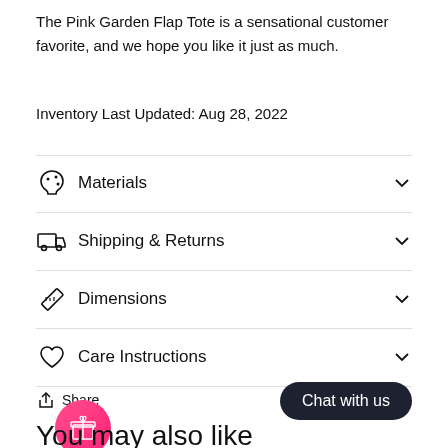The Pink Garden Flap Tote is a sensational customer favorite, and we hope you like it just as much.
Inventory Last Updated: Aug 28, 2022
Materials
Shipping & Returns
Dimensions
Care Instructions
Share
Chat with us
You may also like